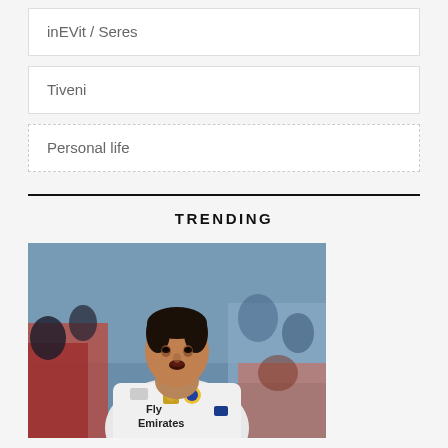inEVit / Seres
Tiveni
Personal life
TRENDING
[Figure (photo): A footballer wearing a white Real Madrid jersey with Fly Emirates sponsor, looking upward with mouth open, with a crowd in the background. The player appears to be Cristiano Ronaldo.]